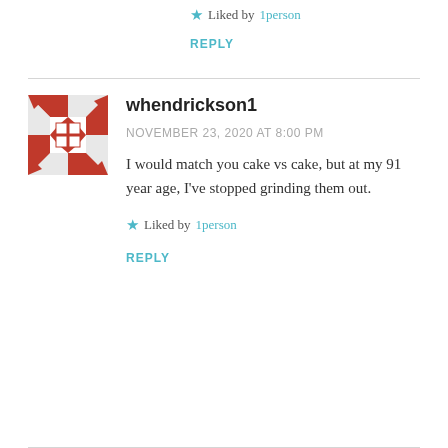★ Liked by 1person
REPLY
whendrickson1
NOVEMBER 23, 2020 AT 8:00 PM
I would match you cake vs cake, but at my 91 year age, I've stopped grinding them out.
★ Liked by 1person
REPLY